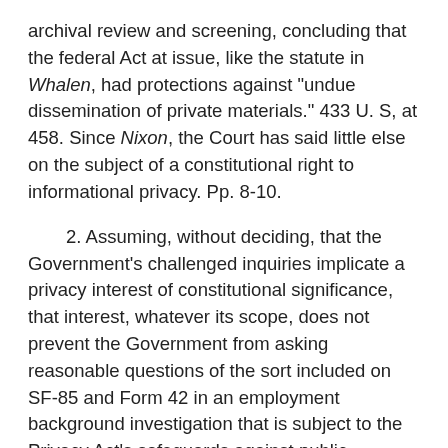archival review and screening, concluding that the federal Act at issue, like the statute in Whalen, had protections against "undue dissemination of private materials." 433 U. S, at 458. Since Nixon, the Court has said little else on the subject of a constitutional right to informational privacy. Pp. 8-10.
2. Assuming, without deciding, that the Government's challenged inquiries implicate a privacy interest of constitutional significance, that interest, whatever its scope, does not prevent the Government from asking reasonable questions of the sort included on SF-85 and Form 42 in an employment background investigation that is subject to the Privacy Act's safeguards against public disclosure. Pp. 10-24.
(a) The forms are reasonable in light of the Government interests at stake. Pp. 11-19.